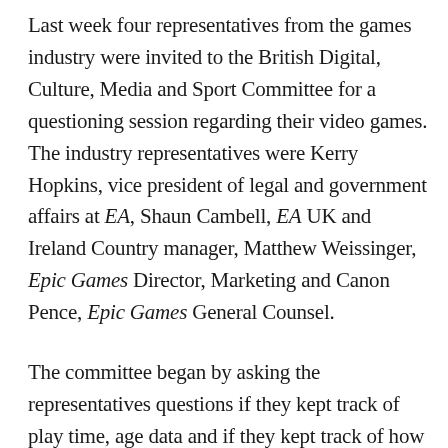Last week four representatives from the games industry were invited to the British Digital, Culture, Media and Sport Committee for a questioning session regarding their video games. The industry representatives were Kerry Hopkins, vice president of legal and government affairs at EA, Shaun Cambell, EA UK and Ireland Country manager, Matthew Weissinger, Epic Games Director, Marketing and Canon Pence, Epic Games General Counsel.
The committee began by asking the representatives questions if they kept track of play time, age data and if they kept track of how much a player has spent in microtransactions within a game.